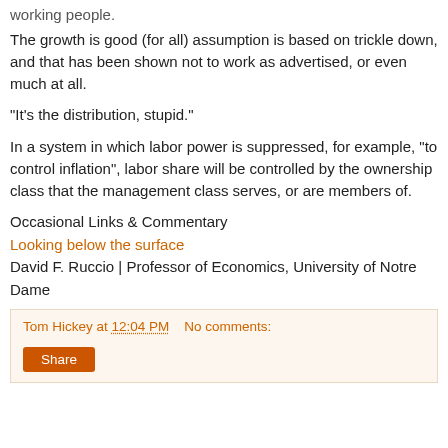working people.
The growth is good (for all) assumption is based on trickle down, and that has been shown not to work as advertised, or even much at all.
"It's the distribution, stupid."
In a system in which labor power is suppressed, for example, "to control inflation", labor share will be controlled by the ownership class that the management class serves, or are members of.
Occasional Links & Commentary
Looking below the surface
David F. Ruccio | Professor of Economics, University of Notre Dame
Tom Hickey at 12:04 PM   No comments:
Share